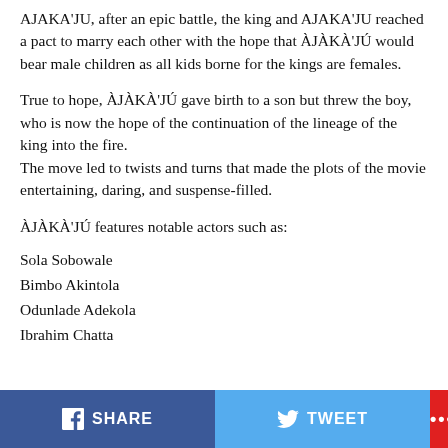AJAKA'JU, after an epic battle, the king and AJAKA'JU reached a pact to marry each other with the hope that ÀJÀKÀ'JÚ would bear male children as all kids borne for the kings are females.
True to hope, ÀJÀKÀ'JÚ gave birth to a son but threw the boy, who is now the hope of the continuation of the lineage of the king into the fire.
The move led to twists and turns that made the plots of the movie entertaining, daring, and suspense-filled.
ÀJÀKÀ'JÚ features notable actors such as:
Sola Sobowale
Bimbo Akintola
Odunlade Adekola
Ibrahim Chatta
SHARE  TWEET  ...